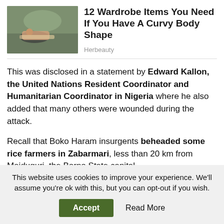[Figure (photo): Person lying on ground outdoors, advertisement image]
12 Wardrobe Items You Need If You Have A Curvy Body Shape
Herbeauty
This was disclosed in a statement by Edward Kallon, the United Nations Resident Coordinator and Humanitarian Coordinator in Nigeria where he also added that many others were wounded during the attack.
Recall that Boko Haram insurgents beheaded some rice farmers in Zabarmari, less than 20 km from Maiduguri, the Borno State capital.
The figure in the report was put at 43.
This website uses cookies to improve your experience. We'll assume you're ok with this, but you can opt-out if you wish.